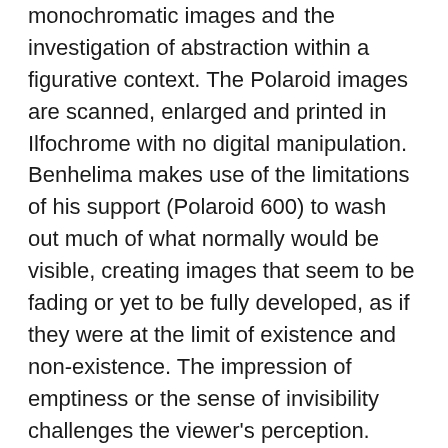monochromatic images and the investigation of abstraction within a figurative context. The Polaroid images are scanned, enlarged and printed in Ilfochrome with no digital manipulation. Benhelima makes use of the limitations of his support (Polaroid 600) to wash out much of what normally would be visible, creating images that seem to be fading or yet to be fully developed, as if they were at the limit of existence and non-existence. The impression of emptiness or the sense of invisibility challenges the viewer's perception. Benhelima pictures the real in an illusory image in which a strange sense of depth and volume is created; questioning photography and disturbing the experience of space.
Time is a fundamental element in Benhelima's oeuvre. In Harlem on my Mind: I was, I am he creates timeless images that seem old in a first glance but, many times, present subtle contemporary details bringing the viewer back and forth to past and present, what once again gives a sensation